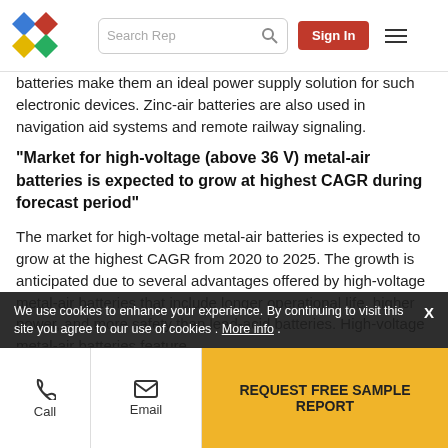Search Rep | Sign In
batteries make them an ideal power supply solution for such electronic devices. Zinc-air batteries are also used in navigation aid systems and remote railway signaling.
“Market for high-voltage (above 36 V) metal-air batteries is expected to grow at highest CAGR during forecast period”
The market for high-voltage metal-air batteries is expected to grow at the highest CAGR from 2020 to 2025. The growth is anticipated due to several advantages offered by high-voltage metal-air batteries that include longer operational life, higher power, and more safety than lead-acid batteries. High-voltage metal-air batteries feature the high efficiency of distributed grid storage
We use cookies to enhance your experience. By continuing to visit this site you agree to our use of cookies . More info.
Call | Email | REQUEST FREE SAMPLE REPORT